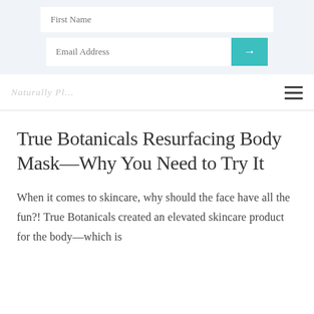First Name
Email Address →
[Figure (screenshot): Website navigation bar with partial logo text on the left and a hamburger menu icon (three horizontal lines) on the right]
True Botanicals Resurfacing Body Mask—Why You Need to Try It
When it comes to skincare, why should the face have all the fun?! True Botanicals created an elevated skincare product for the body—which is